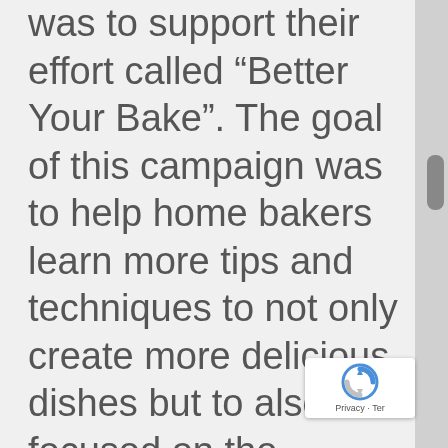was to support their effort called “Better Your Bake”. The goal of this campaign was to help home bakers learn more tips and techniques to not only create more delicious dishes but to also be focused on the mindfulness that the baking process enables. For me, I find baking to be a stress reliever. It forces me to pay attention to each step of the recipe. You need to do exact measurements so the cake comes out perfectly.